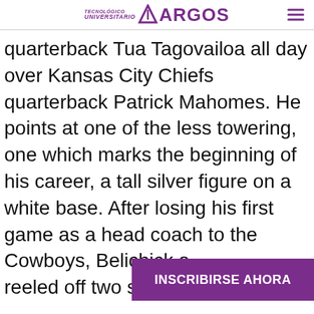TECNOLÓGICO UNIVERSITARIO ARGOS
quarterback Tua Tagovailoa all day over Kansas City Chiefs quarterback Patrick Mahomes. He points at one of the less towering, one which marks the beginning of his career, a tall silver figure on a white base. After losing his first game as a head coach to the Cowboys, Belichick a… reeled off two straig…
INSCRIBIRSE AHORA